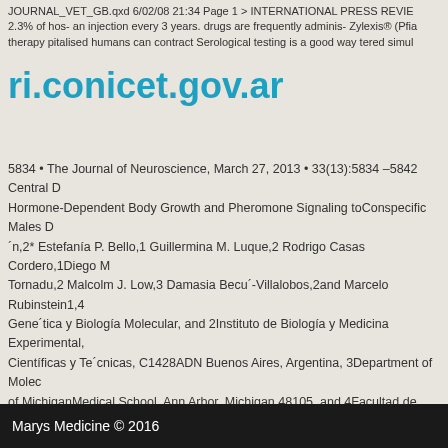JOURNAL_VET_GB.qxd 6/02/08 21:34 Page 1 > INTERNATIONAL PRESS REVIE
2.3% of hos- an injection every 3 years. drugs are frequently adminis- Zylexis® (Pfia
therapy pitalised humans can contract Serological testing is a good way tered simul
ri.conicet.gov.ar
5834 • The Journal of Neuroscience, March 27, 2013 • 33(13):5834 –5842 Central D
Hormone-Dependent Body Growth and Pheromone Signaling toConspecific Males D
´n,2* Estefanía P. Bello,1 Guillermina M. Luque,2 Rodrigo Casas Cordero,1Diego M
Tornadu,2 Malcolm J. Low,3 Damasia Becu´-Villalobos,2and Marcelo Rubinstein1,4
Gene´tica y Biología Molecular, and 2Instituto de Biología y Medicina Experimental,
Científicas y Te´cnicas, C1428ADN Buenos Aires, Argentina, 3Department of Molec
of MichiganMedical School, Ann Arbor, Michigan 48105, and 4Facultad de Ciencias
Buenos Aires, C1428EGA Buenos Aires,Argentina
Marys Medicine © 2016